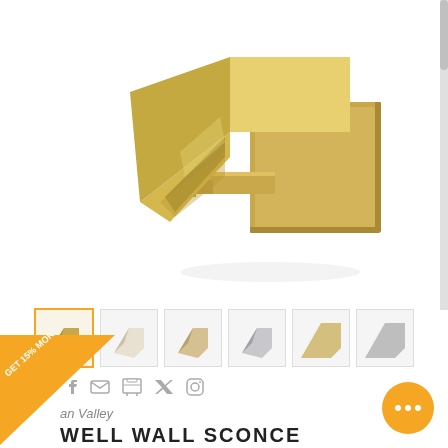[Figure (photo): A gold/brass wall sconce light fixture with geometric angular shade, shown on white background. The fixture has a square wall plate and angular arm supporting an upward-facing pyramid-shaped shade in brushed gold finish.]
[Figure (photo): Row of 6 thumbnail images of the same wall sconce in different finishes/angles: gold, white/cream, champagne, chrome, and two detail shots.]
[Figure (infographic): Orange triangular corner badge with text GET 15% MORE and an arrow pointing left.]
f  ✉  🖨  𝕏  𝓟
an Valley
WELL WALL SCONCE